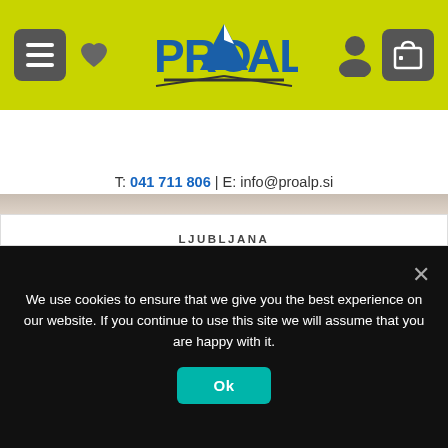[Figure (logo): ProAlp store website header with green/yellow background, menu button, heart icon, ProAlp logo with mountain, user icon, and cart icon]
T: 041 711 806 | E: info@proalp.si
LJUBLJANA
PROALP STORE SUPERNOVA LJUBLJANA RUDNIK, SLOVENIA
Jurčkova 223,
1000 Ljubljana
Slovenia
CONTACT
We use cookies to ensure that we give you the best experience on our website. If you continue to use this site we will assume that you are happy with it.